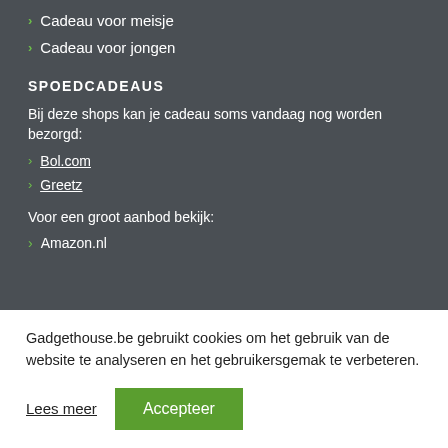> Cadeau voor meisje
> Cadeau voor jongen
SPOEDCADEAUS
Bij deze shops kan je cadeau soms vandaag nog worden bezorgd:
> Bol.com
> Greetz
Voor een groot aanbod bekijk:
> Amazon.nl
Gadgethouse.be gebruikt cookies om het gebruik van de website te analyseren en het gebruikersgemak te verbeteren.
Lees meer   Accepteer